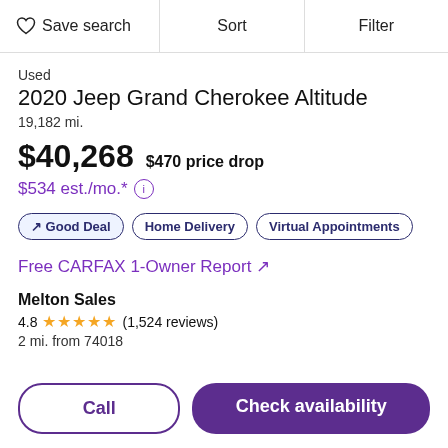Save search | Sort | Filter
Used
2020 Jeep Grand Cherokee Altitude
19,182 mi.
$40,268  $470 price drop
$534 est./mo.*
↗ Good Deal
Home Delivery
Virtual Appointments
Free CARFAX 1-Owner Report ↗
Melton Sales
4.8 ★★★★★ (1,524 reviews)
2 mi. from 74018
Call
Check availability